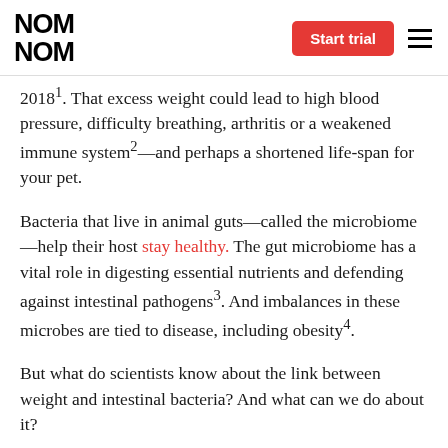NOM NOM | Start trial
2018¹. That excess weight could lead to high blood pressure, difficulty breathing, arthritis or a weakened immune system²—and perhaps a shortened life-span for your pet.
Bacteria that live in animal guts—called the microbiome—help their host stay healthy. The gut microbiome has a vital role in digesting essential nutrients and defending against intestinal pathogens³. And imbalances in these microbes are tied to disease, including obesity⁴.
But what do scientists know about the link between weight and intestinal bacteria? And what can we do about it?